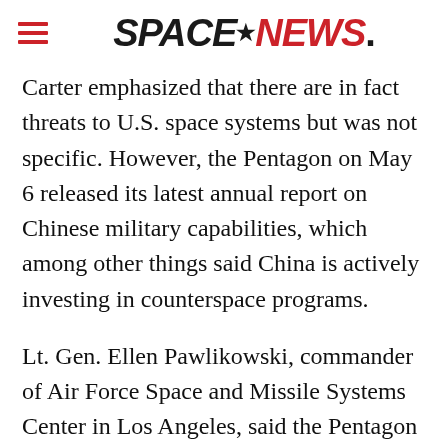SPACENEWS
Carter emphasized that there are in fact threats to U.S. space systems but was not specific. However, the Pentagon on May 6 released its latest annual report on Chinese military capabilities, which among other things said China is actively investing in counterspace programs.
Lt. Gen. Ellen Pawlikowski, commander of Air Force Space and Missile Systems Center in Los Angeles, said the Pentagon is responding to an evolving rather than a specific threat. Speaking to reporters during a May 9 teleconference, she said the space environment has grown more complex in the last decade and that the Pentagon aims to address that not with new investments in protective systems but rather by examining past and